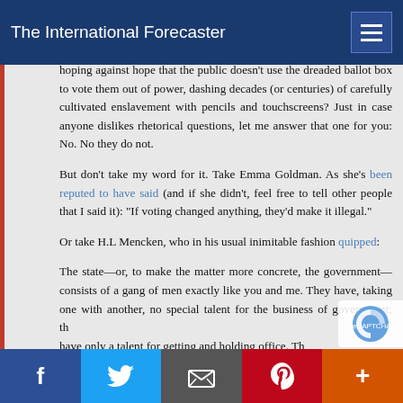The International Forecaster
hoping against hope that the public doesn't use the dreaded ballot box to vote them out of power, dashing decades (or centuries) of carefully cultivated enslavement with pencils and touchscreens? Just in case anyone dislikes rhetorical questions, let me answer that one for you: No. No they do not.
But don't take my word for it. Take Emma Goldman. As she's been reputed to have said (and if she didn't, feel free to tell other people that I said it): "If voting changed anything, they'd make it illegal."
Or take H.L Mencken, who in his usual inimitable fashion quipped:
The state—or, to make the matter more concrete, the government—consists of a gang of men exactly like you and me. They have, taking one with another, no special talent for the business of government; the have only a talent for getting and holding office. Th...
Facebook Twitter Email Pinterest More